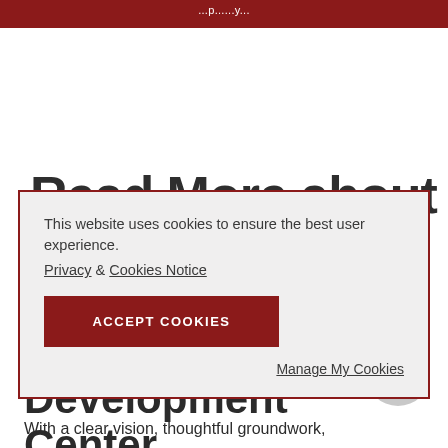...p...y...
Read More about Thresholds...
This website uses cookies to ensure the best user experience.
Privacy & Cookies Notice
ACCEPT COOKIES
Manage My Cookies
Business Development Center
With a clear vision, thoughtful groundwork,